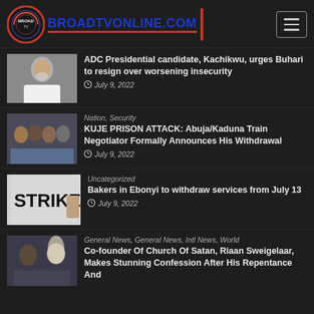BROADTVONLINE.COM
[Figure (screenshot): Thumbnail photo of a man with grey beard in white clothing]
ADC Presidential candidate, Kachikwu, urges Buhari to resign over worsening insecurity
July 9, 2022
[Figure (photo): Thumbnail photo of several men sitting together]
Nation, Security
KUJE PRISON ATTACK: Abuja/Kaduna Train Negotiator Formally Announces His Withdrawal
July 9, 2022
[Figure (photo): Thumbnail image showing text STRIKE with a hand holding a sign]
Uncategorized
Bakers in Ebonyi to withdraw services from July 13
July 9, 2022
[Figure (photo): Thumbnail photo of two people, one with long light-colored hair]
General News, General News, Intl News, World
Co-founder Of Church Of Satan, Riaan Sweigelaar, Makes Stunning Confession After His Repentance And